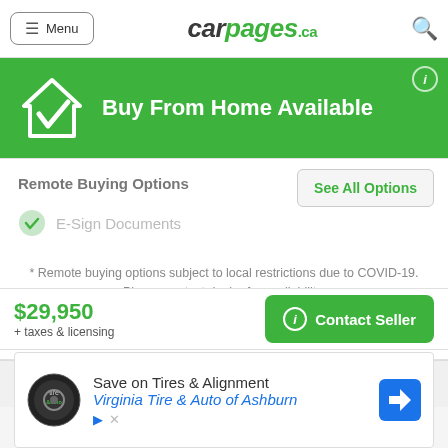Menu | carpages.ca
Buy From Home Available
Remote Buying Options
E-Sign Documents
* Remote buying options subject to local restrictions due to COVID-19. Please contact dealer for availability.
Email BELL AUTO INC.
$29,950
+ taxes & licensing
Contact Seller
[Figure (screenshot): Save on Tires & Alignment advertisement for Virginia Tire & Auto of Ashburn]